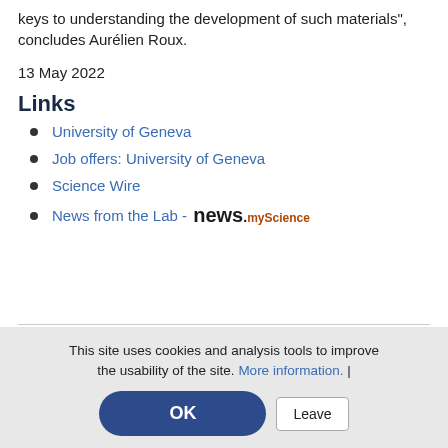keys to understanding the development of such materials", concludes Aurélien Roux.
13 May 2022
Links
University of Geneva
Job offers: University of Geneva
Science Wire
News from the Lab - news.myScience
This site uses cookies and analysis tools to improve the usability of the site. More information. |
OK
Leave
sitemap